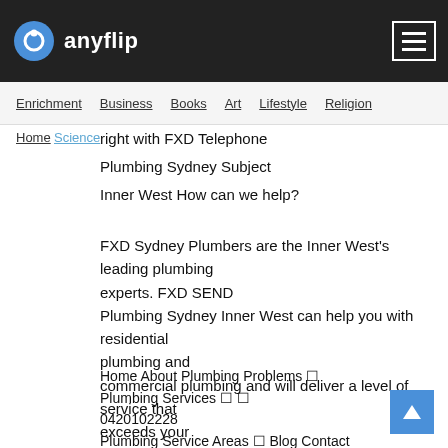anyflip
Enrichment  Business  Books  Art  Lifestyle  Religion
Home  Science
right with FXD Telephone
Plumbing Sydney Subject
Inner West How can we help?
FXD Sydney Plumbers are the Inner West's leading plumbing experts. FXD SEND Plumbing Sydney Inner West can help you with residential plumbing and commercial plumbing and will deliver a level of service that exceeds your expectations.
Home About Plumbing Problems ◻ Plumbing Services ◻ ◻ 0420102228 Plumbing Service Areas ◻ Blog Contact